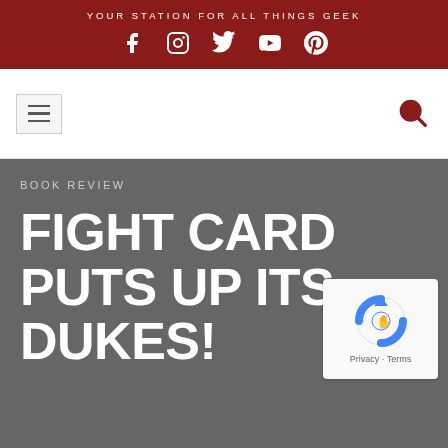YOUR STATION FOR ALL THINGS GEEK
[Figure (infographic): Social media icons: Facebook, Instagram, Twitter, YouTube, Pinterest — white icons on dark red background]
[Figure (infographic): Navigation bar with hamburger menu button on left and search icon (magnifying glass) in dark red on right]
BOOK REVIEW
FIGHT CARD PUTS UP ITS DUKES!
[Figure (other): reCAPTCHA badge with circular arrow logo and Privacy - Terms text]